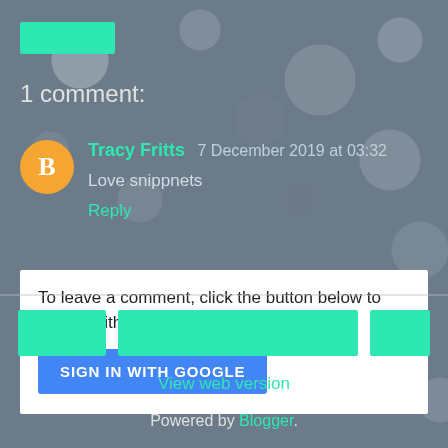[Figure (illustration): Green button/badge at top left, bokeh blurred background]
1 comment:
Tracy Fritts  7 December 2019 at 03:32
Love snippnets
Reply
To leave a comment, click the button below to sign in with Google.
SIGN IN WITH GOOGLE
[Figure (illustration): Navigation buttons row: left green button, center green button, right green button]
View web version
Powered by Blogger.